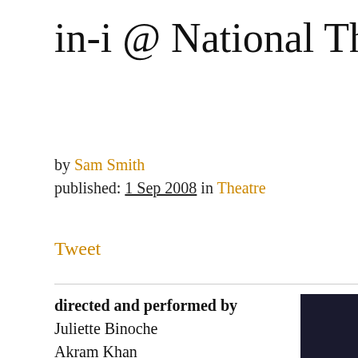in-i @ National Theatre,
by Sam Smith
published: 1 Sep 2008 in Theatre
Tweet
directed and performed by
Juliette Binoche
Akram Khan
This unusual collaborative project sees its performers, one an award winning actor, the other an equally successful dancer and choreographer, step out of their respective
[Figure (photo): Partial dark photo visible at right edge]